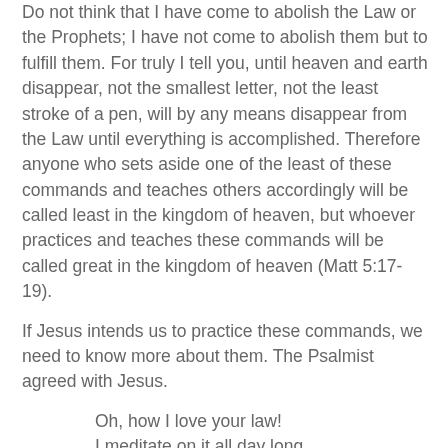Do not think that I have come to abolish the Law or the Prophets; I have not come to abolish them but to fulfill them. For truly I tell you, until heaven and earth disappear, not the smallest letter, not the least stroke of a pen, will by any means disappear from the Law until everything is accomplished. Therefore anyone who sets aside one of the least of these commands and teaches others accordingly will be called least in the kingdom of heaven, but whoever practices and teaches these commands will be called great in the kingdom of heaven (Matt 5:17-19).
If Jesus intends us to practice these commands, we need to know more about them. The Psalmist agreed with Jesus.
Oh, how I love your law!
I meditate on it all day long.
Your commands are always with me
and make me wiser than my enemies.
I have more insight than all my teachers,
for I meditate on your statutes.
I have more understanding than the elders,